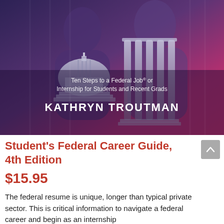[Figure (illustration): Book cover of Student's Federal Career Guide, 4th Edition by Kathryn Troutman. Shows a composite image of two figures (a man and a woman) overlaid with the US Capitol building and classical columns, in blue/purple and pink/magenta tones. Text on cover reads 'Ten Steps to a Federal Job® or Internship for Students and Recent Grads' and 'KATHRYN TROUTMAN'.]
Student's Federal Career Guide, 4th Edition
$15.95
The federal resume is unique, longer than typical private sector. This is critical information to navigate a federal career and begin as an internship